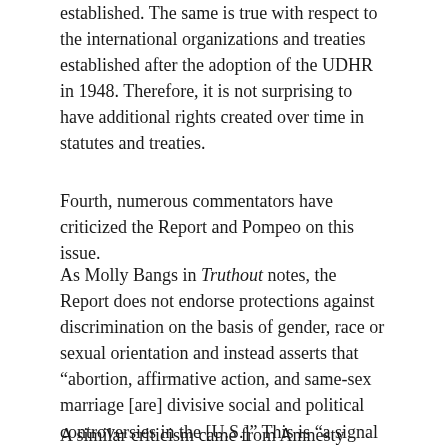established. The same is true with respect to the international organizations and treaties established after the adoption of the UDHR in 1948. Therefore, it is not surprising to have additional rights created over time in statutes and treaties.
Fourth, numerous commentators have criticized the Report and Pompeo on this issue.
As Molly Bangs in Truthout notes, the Report does not endorse protections against discrimination on the basis of gender, race or sexual orientation and instead asserts that “abortion, affirmative action, and same-sex marriage [are] divisive social and political controversies in the [U.S.]” This is “a signal of how the Commission and Pompeo intend to weaponize religious freedom at the expense of other human rights.”
A similar criticism came from Amnesty International,